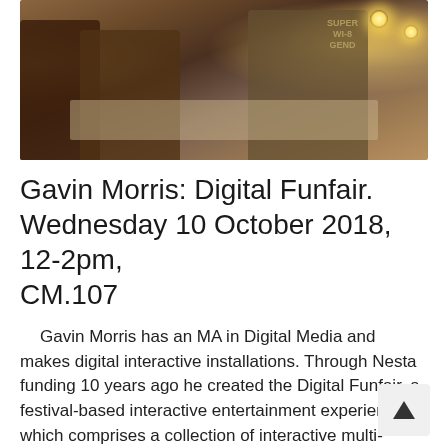[Figure (photo): Photo of people interacting around a illuminated table at what appears to be a digital interactive installation event, with warm lighting and bokeh light bulbs in the background.]
Gavin Morris: Digital Funfair. Wednesday 10 October 2018, 12-2pm, CM.107
Gavin Morris has an MA in Digital Media and makes digital interactive installations. Through Nesta funding 10 years ago he created the Digital Funfair, a festival-based interactive entertainment experience which comprises a collection of interactive multi-media installations masked as old style fairground entertainment. The Digital Funfair has toured across the UK and Europe, including Glastonbury, [...]